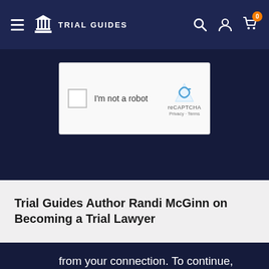[Figure (logo): Trial Guides navigation bar with hamburger menu, column/temple logo, TRIAL GUIDES text, search icon, account icon, and cart icon with orange badge showing 0]
[Figure (screenshot): reCAPTCHA widget showing checkbox, 'I'm not a robot' text, reCAPTCHA logo, Privacy and Terms links on dark navy background]
Trial Guides Author Randi McGinn on Becoming a Trial Lawyer
from your connection. To continue, please confirm that youâ€™re a human (and not a spambot).